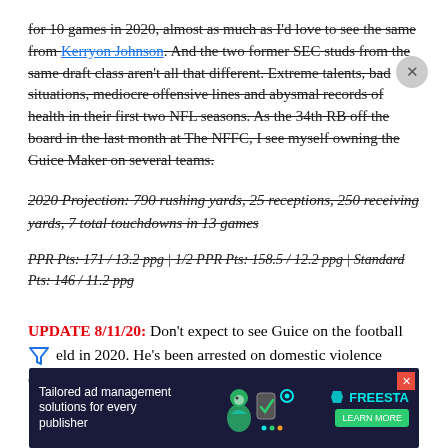for 10 games in 2020, almost as much as I'd love to see the same from Kerryon Johnson. And the two former SEC studs from the same draft class aren't all that different. Extreme talents, bad situations, mediocre offensive lines and abysmal records of health in their first two NFL seasons. As the 34th RB off the board in the last month at The NFFC, I see myself owning the Guice Maker on several teams.
2020 Projection: 790 rushing yards, 25 receptions, 250 receiving yards, 7 total touchdowns in 13 games
PPR Pts: 171 / 13.2 ppg | 1/2 PPR Pts: 158.5 / 12.2 ppg | Standard Pts: 146 / 11.2 ppg
UPDATE 8/11/20: Don't expect to see Guice on the football field in 2020. He's been arrested on domestic violence charges... as the Redskins...
[Figure (other): Advertisement banner: Tailored ad management solutions for every publisher, Freestar logo, Learn More button, with illustrated graphic of people and tech icons]